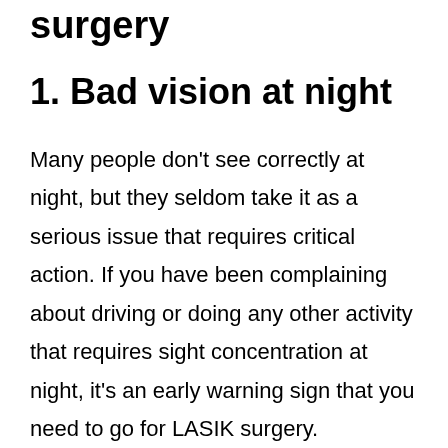surgery
1. Bad vision at night
Many people don’t see correctly at night, but they seldom take it as a serious issue that requires critical action. If you have been complaining about driving or doing any other activity that requires sight concentration at night, it’s an early warning sign that you need to go for LASIK surgery.